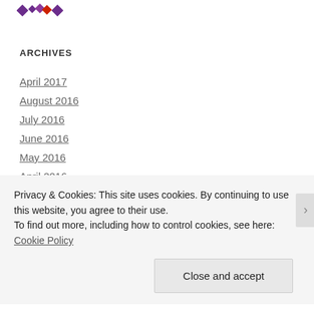[Figure (logo): Small decorative logo with purple/red geometric diamond shapes]
ARCHIVES
April 2017
August 2016
July 2016
June 2016
May 2016
April 2016
March 2016
February 2016
Privacy & Cookies: This site uses cookies. By continuing to use this website, you agree to their use.
To find out more, including how to control cookies, see here: Cookie Policy
Close and accept